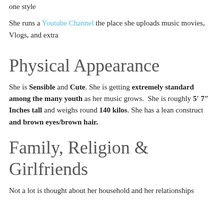one style
She runs a Youtube Channel the place she uploads music movies, Vlogs, and extra
Physical Appearance
She is Sensible and Cute. She is getting extremely standard among the many youth as her music grows. She is roughly 5′ 7″ Inches tall and weighs round 140 kilos. She has a lean construct and brown eyes/brown hair.
Family, Religion & Girlfriends
Not a lot is thought about her household and her relationships